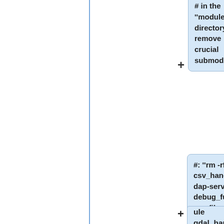# in the ''modules'' directory remove crucial submodules:
#: ''rm -rf csv_handler dap-server debug_functions fileout_* fits_handler freeform_handler gateway_module gdal_handler ncml_module netcdf_handler